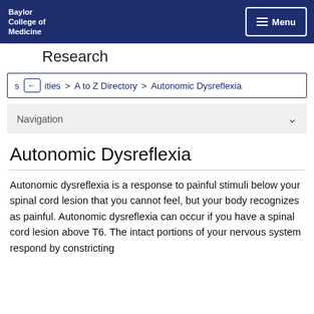Baylor College of Medicine | Research | Menu
Research
s ← ities > A to Z Directory > Autonomic Dysreflexia
Navigation
Autonomic Dysreflexia
Autonomic dysreflexia is a response to painful stimuli below your spinal cord lesion that you cannot feel, but your body recognizes as painful. Autonomic dysreflexia can occur if you have a spinal cord lesion above T6. The intact portions of your nervous system respond by constricting